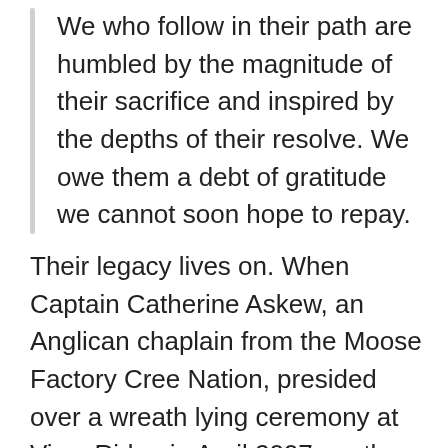We who follow in their path are humbled by the magnitude of their sacrifice and inspired by the depths of their resolve. We owe them a debt of gratitude we cannot soon hope to repay.
Their legacy lives on. When Captain Catherine Askew, an Anglican chaplain from the Moose Factory Cree Nation, presided over a wreath lying ceremony at Vimy Ridge in April 2007, on the 90th anniversary of that famous battle, she delivered her prayer in English and Cree. “We have to give thanks